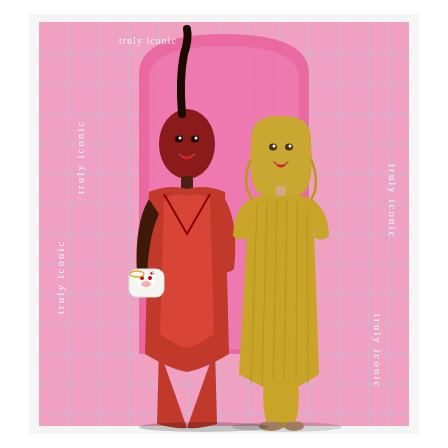[Figure (photo): Two women posing together at a 'truly iconic' branded event backdrop. On the left, a tall Black woman wearing a deep red sequined form-fitting gown with a deep V-neckline, holding a Hello Kitty-themed beaded clutch bag. On the right, a woman with wavy blonde hair wearing a gold metallic pleated midi dress with short sleeves. Behind them is a pink step-and-repeat backdrop with 'truly iconic' text and a teal grid pattern, featuring a large pink arch in the center.]